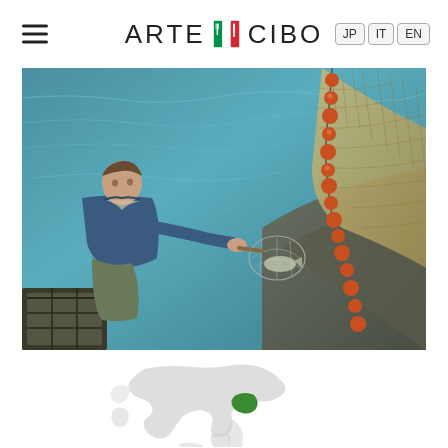ARTE CIBO — JP IT EN
[Figure (photo): Aerial view of a fisherman in a boat on blue-green water, holding a net scoop with a fish, surrounded by large fishing nets with orange floats and a rocky shore]
[Figure (map): Outline map of Italy in light gray with one region highlighted in green (Umbria/central Italy area)]